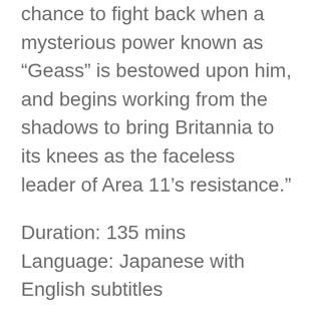chance to fight back when a mysterious power known as “Geass” is bestowed upon him, and begins working from the shadows to bring Britannia to its knees as the faceless leader of Area 11’s resistance.”
Duration: 135 mins
Language: Japanese with English subtitles
It’s worth noting this film project has reunited the staff of the original series to bring the story to the big screen. There are some newly added scenes and the voices have been re-